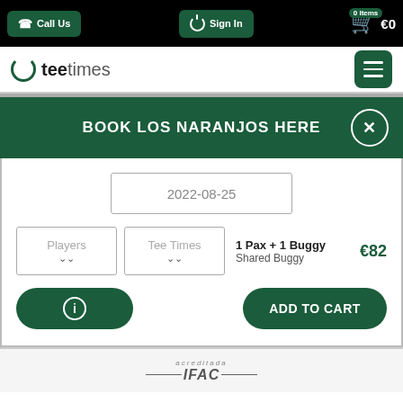Call Us | Sign In | 0 Items €0
[Figure (logo): Teetimes logo with green circle power icon and text 'teetimes']
BOOK LOS NARANJOS HERE
2022-08-25
Players | Tee Times | 1 Pax + 1 Buggy Shared Buggy €82
ⓘ  ADD TO CART
[Figure (logo): IFAC acreditado logo at bottom of page]